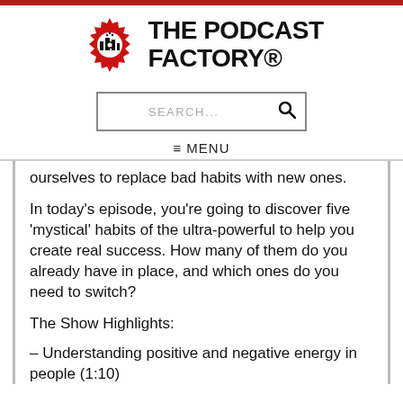[Figure (logo): The Podcast Factory logo with red gear/factory icon and bold black text reading THE PODCAST FACTORY®]
[Figure (screenshot): Search bar with placeholder text SEARCH... and a magnifying glass icon]
≡ MENU
ourselves to replace bad habits with new ones.
In today's episode, you're going to discover five 'mystical' habits of the ultra-powerful to help you create real success. How many of them do you already have in place, and which ones do you need to switch?
The Show Highlights:
– Understanding positive and negative energy in people (1:10)